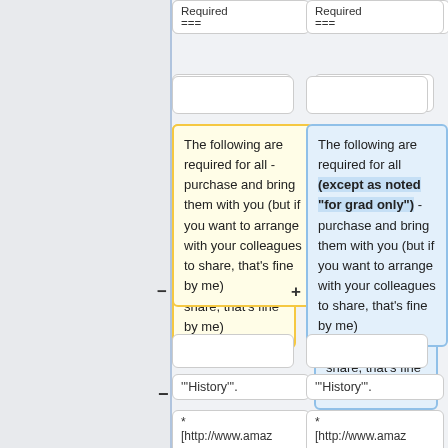Required
===
Required
===
The following are required for all - purchase and bring them with you (but if you want to arrange with your colleagues to share, that's fine by me)
The following are required for all (except as noted "for grad only") - purchase and bring them with you (but if you want to arrange with your colleagues to share, that's fine by me)
'''History'''.
'''History'''.
*
[http://www.amaz
*
[http://www.amaz